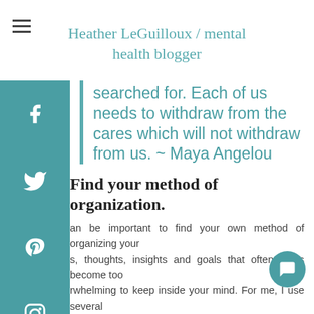Heather LeGuilloux / mental health blogger
searched for. Each of us needs to withdraw from the cares which will not withdraw from us. ~ Maya Angelou
Find your method of organization.
an be important to find your own method of organizing your s, thoughts, insights and goals that often times become too rwhelming to keep inside your mind. For me, I use several endars and separate my personal and professional tasks. I e giant chalk calendar on the wall above my computer with the monthly tasks happening for my blogs and use a planner to organize my year ahead.
Other ways that help me get organized: